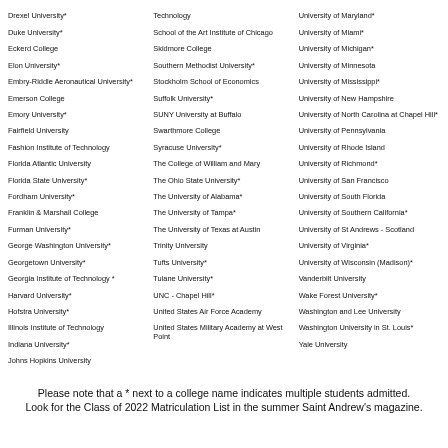Drexel University*
Duke University*
Eckerd College
Elon University*
Embry-Riddle Aeronautical University*
Emerson College
Emory University*
Fairfield University
Fashion Institute of Technology
Florida Atlantic University
Florida State University*
Fordham University*
Franklin & Marshall College
Furman University*
George Washington University*
Georgetown University*
Georgia Institute of Technology *
Harvard University*
Hofstra University*
Illinois Institute of Technology
Indiana University*
Johns Hopkins University
Technology
School of the Art Institute of Chicago
Skidmore College
Southern Methodist University*
Stockholm School of Economics
Suffolk University*
SUNY University at Buffalo
Swarthmore College
Syracuse University*
The College of William and Mary
The Ohio State University*
The University of Alabama*
The University of Tampa*
The University of Texas at Austin
Trinity University
Tufts University*
Tulane University*
UNC - Chapel Hill*
United States Air Force Academy
United States Military Academy at West Point
University of Maryland*
University of Miami*
University of Michigan*
University of Minnesota
University of Mississippi*
University of New Hampshire
University of North Carolina at Chapel Hill*
University of Pennsylvania
University of Rhode Island
University of Richmond*
University of San Francisco
University of South Florida
University of Southern California*
University of St Andrews - Scotland
University of Virginia*
University of Wisconsin (Madison)*
Vanderbilt University
Wake Forest University*
Washington and Lee University
Washington University in St. Louis*
Yale University
Please note that a * next to a college name indicates multiple students admitted. Look for the Class of 2022 Matriculation List in the summer Saint Andrew's magazine.
CONGRATULATIONS CLASS OF 2022! GO SCOTS!